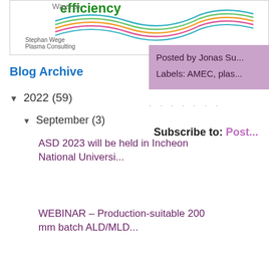[Figure (logo): Logo image with colorful wavy lines and text 'Ways to efficiency', 'Stephan Wege Plasma Consulting']
Blog Archive
▼ 2022 (59)
▼ September (3)
ASD 2023 will be held in Incheon National Universi...
WEBINAR - Production-suitable 200 mm batch ALD/MLD...
Supply Tightening Expected for Specialty Electroni...
Posted by Jonas Su...
Labels: AMEC, plas...
Subscribe to: Post...